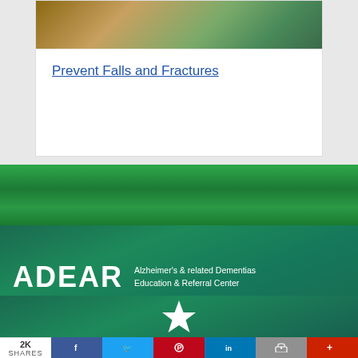[Figure (photo): Partial view of a person outdoors, upper portion cropped, wearing a brown jacket, in a green outdoor setting]
Prevent Falls and Fractures
[Figure (logo): ADEAR – Alzheimer's & related Dementias Education & Referral Center logo on green/teal background with a white star icon]
2K SHARES  [Facebook] [Twitter] [Pinterest] [LinkedIn] [Print] [More]